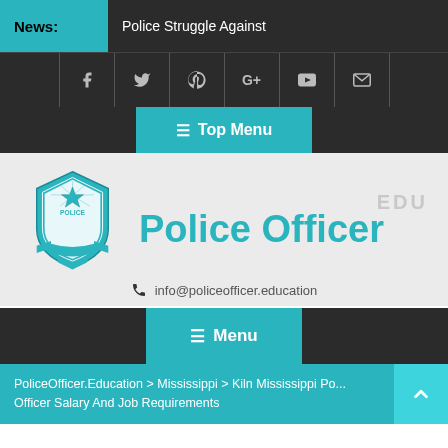News: Police Struggle Against
[Figure (screenshot): Social media icons bar: Facebook, Twitter, Pinterest, Google+, YouTube, Email]
☰ Top Menu
[Figure (logo): Police Officer EDU logo with police badge shield icon and teal text 'Police Officer' and gray 'EDU']
info@policeofficer.education
☰ Menu
PoliceOfficer.Education > Mississippi > Kiln Mississippi Po... Officer Salary And Job Requirements